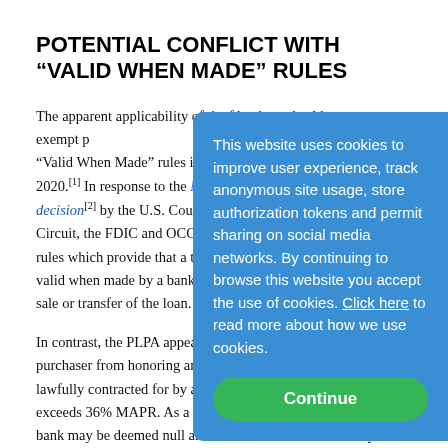POTENTIAL CONFLICT WITH “VALID WHEN MADE” RULES
The apparent applicability of the [text continues] banks and sold to a non-exempt p[urchaser creates conflict with] “Valid When Made” rules issued [by the OCC and FDIC in] 2020.[1] In response to the Madde[n v. Midland Funding] decision[2] by the U.S. Court of A[ppeals for the Second] Circuit, the FDIC and OCC issue[d final] rules which provide that a the inte[rest rate that is] valid when made by a bank is not[affected by the subsequent] sale or transfer of the loan.
In contrast, the PLPA appears to p[revent a subsequent] purchaser from honoring and rece[iving the interest] lawfully contracted for by a bank [when such interest] exceeds 36% MAPR. As a result, the loans originated [by a] bank may be deemed null and void under the PLPA if they are
This website uses cookies to improve user experience, track anonymous site usage, store authorization tokens and permit sharing on social media networks. By continuing to browse this website you accept the use of cookies. Click here to read more about how we use cookies.